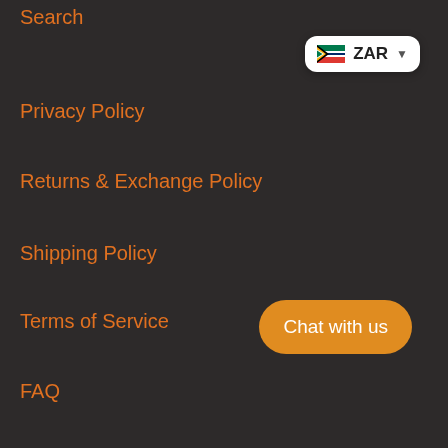Search
[Figure (other): Currency selector showing South Africa flag and ZAR with dropdown arrow]
Privacy Policy
Returns & Exchange Policy
Shipping Policy
Terms of Service
FAQ
Testimonials
My Account
Using Ozow Payments
Chat with us